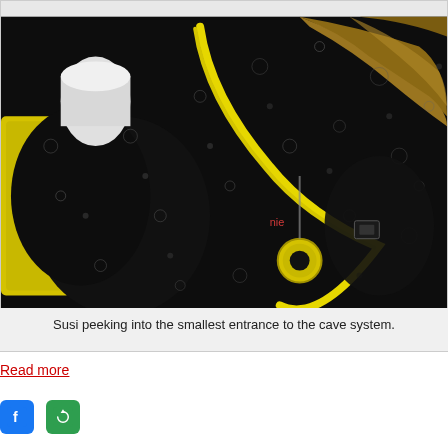[Figure (photo): Underwater cave diver (Susi) peeking into the smallest entrance to a dark cave system. The diver is wearing a black wetsuit with yellow equipment including a yellow hose/tube. The water is dark with particles/bubbles visible. Cave walls are visible in the background upper right.]
Susi peeking into the smallest entrance to the cave system.
Read more
[Figure (logo): Facebook social media icon - blue rounded square with white 'f' letter]
[Figure (logo): Green rounded square share/ShareThis icon with white circular arrow symbol]